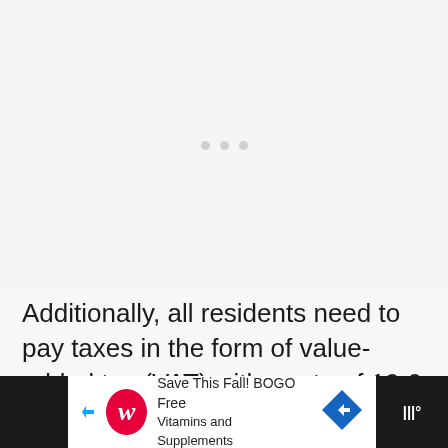[Figure (other): Loading placeholder area with three light grey dots centered in a light grey rectangle, indicating content loading state]
Additionally, all residents need to pay taxes in the form of value-added tax (VAT) with a rate of 19.6 percent on all kinds of goods and services.
[Figure (other): Advertisement bar for Walgreens: Save This Fall! BOGO Free Vitamins and Supplements, with Walgreens logo, arrow icon, blue diamond navigation icon, and weather widget on right]